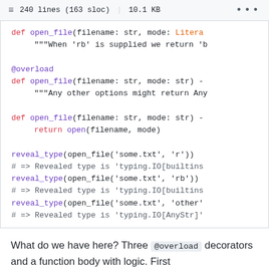240 lines (163 sloc) | 10.1 KB
[Figure (screenshot): Code block showing Python overload decorator usage with open_file function definitions and reveal_type calls]
What do we have here? Three @overload decorators and a function body with logic. First